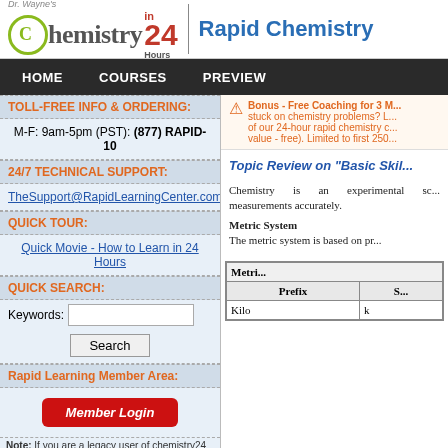[Figure (logo): Dr. Wayne's Chemistry in 24 Hours logo with clock icon and Rapid Chemistry text]
HOME   COURSES   PREVIEW
TOLL-FREE INFO & ORDERING:
M-F: 9am-5pm (PST): (877) RAPID-10
24/7 TECHNICAL SUPPORT:
TheSupport@RapidLearningCenter.com
QUICK TOUR:
Quick Movie - How to Learn in 24 Hours
QUICK SEARCH:
Keywords: [input] Search
Rapid Learning Member Area:
Member Login
Note: If you are a legacy user of chemistry24 members...
Bonus - Free Coaching for 3 M... stuck on chemistry problems? L... of our 24-hour rapid chemistry c... value - free). Limited to first 250...
Topic Review on "Basic Skil..."
Chemistry is an experimental sc... measurements accurately.
Metric System
The metric system is based on pr...
| Metric... | Prefix | S... |
| --- | --- | --- |
| Kilo | k |  |